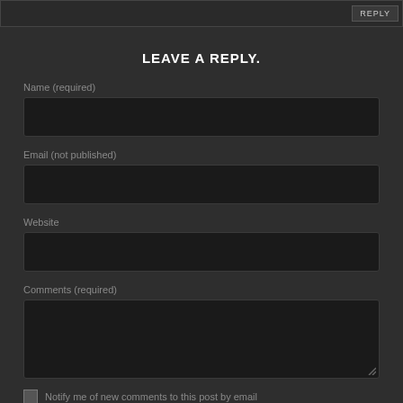LEAVE A REPLY.
Name (required)
[Figure (other): Text input field for Name]
Email (not published)
[Figure (other): Text input field for Email]
Website
[Figure (other): Text input field for Website]
Comments (required)
[Figure (other): Textarea for Comments]
Notify me of new comments to this post by email